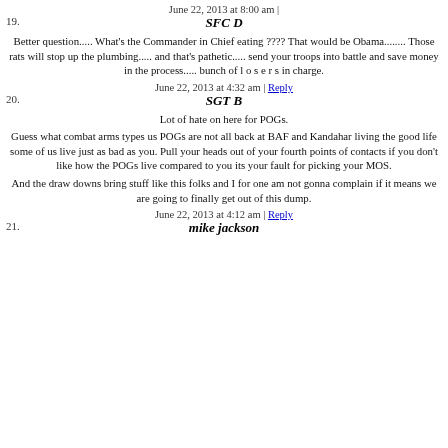June 22, 2013 at 8:00 am |
19.
SFC D
Better question..... What's the Commander in Chief eating ???? That would be Obama........ Those rats will stop up the plumbing..... and that's pathetic..... send your troops into battle and save money in the process..... bunch of l o s e r s in charge.
June 22, 2013 at 4:32 am | Reply
20.
SGT B
Lot of hate on here for POGs.
Guess what combat arms types us POGs are not all back at BAF and Kandahar living the good life some of us live just as bad as you. Pull your heads out of your fourth points of contacts if you don't like how the POGs live compared to you its your fault for picking your MOS.
And the draw downs bring stuff like this folks and I for one am not gonna complain if it means we are going to finally get out of this dump.
June 22, 2013 at 4:12 am | Reply
21.
mike jackson